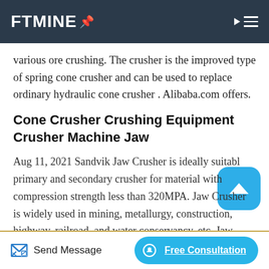FTMINE
various ore crushing. The crusher is the improved type of spring cone crusher and can be used to replace ordinary hydraulic cone crusher . Alibaba.com offers.
Cone Crusher Crushing Equipment Crusher Machine Jaw
Aug 11, 2021 Sandvik Jaw Crusher is ideally suitable primary and secondary crusher for material with compression strength less than 320MPA. Jaw Crusher is widely used in mining, metallurgy, construction, highway, railroad, and water conservancy, etc. Jaw Crusher, Primary Stone crushing machine, Limestone